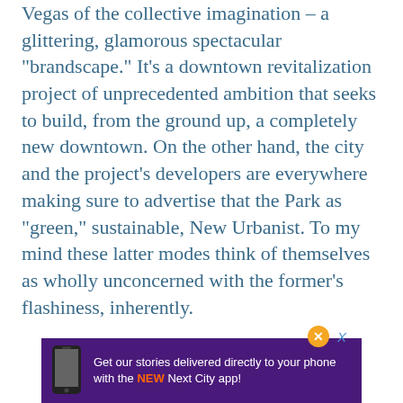Vegas of the collective imagination – a glittering, glamorous spectacular “brandscape.” It’s a downtown revitalization project of unprecedented ambition that seeks to build, from the ground up, a completely new downtown. On the other hand, the city and the project’s developers are everywhere making sure to advertise that the Park as “green,” sustainable, New Urbanist. To my mind these latter modes think of themselves as wholly unconcerned with the former’s flashiness, inherently.
[Figure (infographic): Advertisement banner with purple background showing a smartphone graphic on the left and text: 'Get our stories delivered directly to your phone with the NEW Next City app!' with NEW highlighted in orange. An orange close button with X is shown above the banner.]